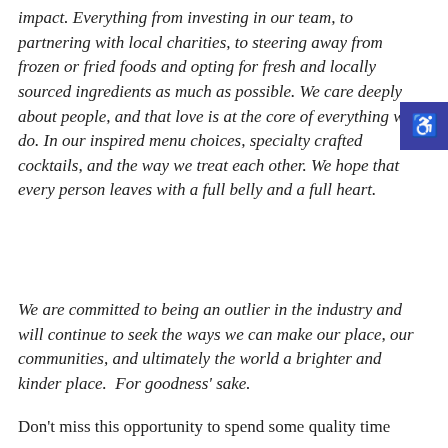impact. Everything from investing in our team, to partnering with local charities, to steering away from frozen or fried foods and opting for fresh and locally sourced ingredients as much as possible. We care deeply about people, and that love is at the core of everything we do. In our inspired menu choices, specialty crafted cocktails, and the way we treat each other. We hope that every person leaves with a full belly and a full heart.
We are committed to being an outlier in the industry and will continue to seek the ways we can make our place, our communities, and ultimately the world a brighter and kinder place.  For goodness' sake.
Don't miss this opportunity to spend some quality time